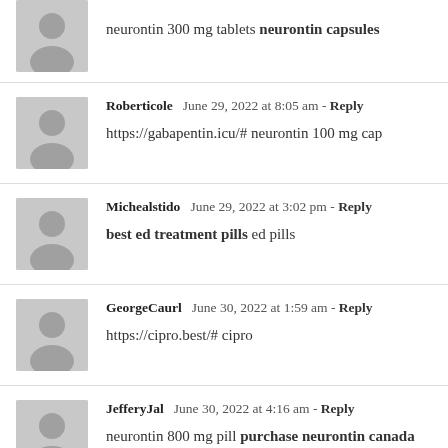neurontin 300 mg tablets neurontin capsules
Roberticole  June 29, 2022 at 8:05 am - Reply
https://gabapentin.icu/# neurontin 100 mg cap
Michealstido  June 29, 2022 at 3:02 pm - Reply
best ed treatment pills ed pills
GeorgeCaurl  June 30, 2022 at 1:59 am - Reply
https://cipro.best/# cipro
JefferyJal  June 30, 2022 at 4:16 am - Reply
neurontin 800 mg pill purchase neurontin canada